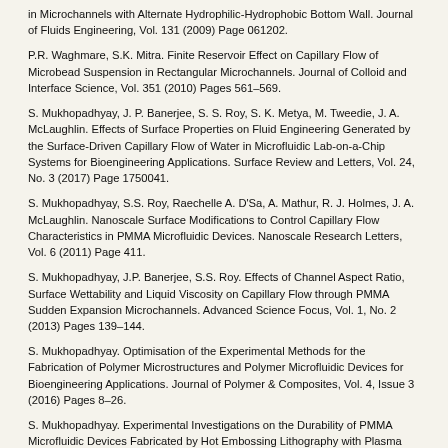in Microchannels with Alternate Hydrophilic-Hydrophobic Bottom Wall. Journal of Fluids Engineering, Vol. 131 (2009) Page 061202.
P.R. Waghmare, S.K. Mitra. Finite Reservoir Effect on Capillary Flow of Microbead Suspension in Rectangular Microchannels. Journal of Colloid and Interface Science, Vol. 351 (2010) Pages 561–569.
S. Mukhopadhyay, J. P. Banerjee, S. S. Roy, S. K. Metya, M. Tweedie, J. A. McLaughlin. Effects of Surface Properties on Fluid Engineering Generated by the Surface-Driven Capillary Flow of Water in Microfluidic Lab-on-a-Chip Systems for Bioengineering Applications. Surface Review and Letters, Vol. 24, No. 3 (2017) Page 1750041.
S. Mukhopadhyay, S.S. Roy, Raechelle A. D'Sa, A. Mathur, R. J. Holmes, J. A. McLaughlin. Nanoscale Surface Modifications to Control Capillary Flow Characteristics in PMMA Microfluidic Devices. Nanoscale Research Letters, Vol. 6 (2011) Page 411.
S. Mukhopadhyay, J.P. Banerjee, S.S. Roy. Effects of Channel Aspect Ratio, Surface Wettability and Liquid Viscosity on Capillary Flow through PMMA Sudden Expansion Microchannels. Advanced Science Focus, Vol. 1, No. 2 (2013) Pages 139–144.
S. Mukhopadhyay. Optimisation of the Experimental Methods for the Fabrication of Polymer Microstructures and Polymer Microfluidic Devices for Bioengineering Applications. Journal of Polymer & Composites, Vol. 4, Issue 3 (2016) Pages 8–26.
S. Mukhopadhyay. Experimental Investigations on the Durability of PMMA Microfluidic Devices Fabricated by Hot Embossing Lithography with Plasma Processing for